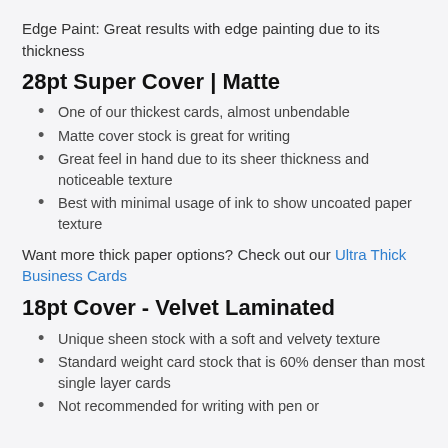Edge Paint: Great results with edge painting due to its thickness
28pt Super Cover | Matte
One of our thickest cards, almost unbendable
Matte cover stock is great for writing
Great feel in hand due to its sheer thickness and noticeable texture
Best with minimal usage of ink to show uncoated paper texture
Want more thick paper options? Check out our Ultra Thick Business Cards
18pt Cover - Velvet Laminated
Unique sheen stock with a soft and velvety texture
Standard weight card stock that is 60% denser than most single layer cards
Not recommended for writing with pen or